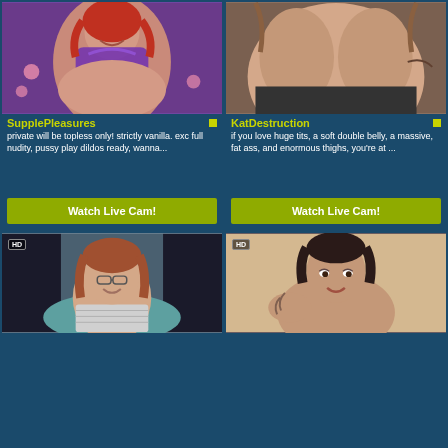[Figure (photo): Thumbnail photo of SupplePleasures: woman in purple lingerie with red hair, lying down, smiling]
SupplePleasures
private will be topless only! strictly vanilla. exc full nudity, pussy play dildos ready, wanna...
Watch Live Cam!
[Figure (photo): Thumbnail photo of KatDestruction: close-up torso shot]
KatDestruction
if you love huge tits, a soft double belly, a massive, fat ass, and enormous thighs, you're at ...
Watch Live Cam!
[Figure (photo): HD thumbnail of woman with red hair and glasses, sitting in chair, smiling]
[Figure (photo): HD thumbnail of woman with dark hair and tattoos, looking at camera]